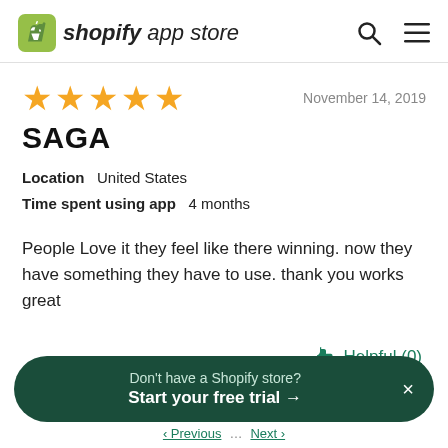shopify app store
★★★★★   November 14, 2019
SAGA
Location  United States
Time spent using app  4 months
People Love it they feel like there winning. now they have something they have to use. thank you works great
Helpful (0)
Don't have a Shopify store? Start your free trial →